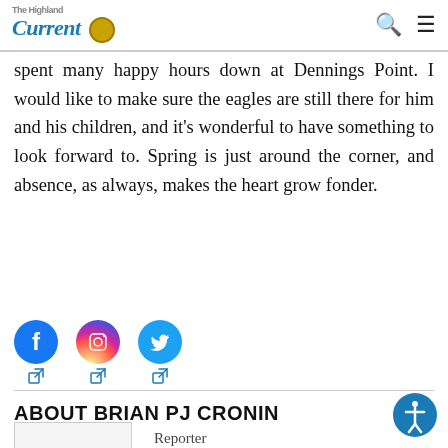The Highland Current
spent many happy hours down at Dennings Point. I would like to make sure the eagles are still there for him and his children, and it’s wonderful to have something to look forward to. Spring is just around the corner, and absence, as always, makes the heart grow fonder.
[Figure (illustration): Social media share icons: Facebook (blue circle with f), Instagram (gradient circle with camera icon), Twitter (blue circle with bird icon), each with an external link arrow below.]
ABOUT BRIAN PJ CRONIN
Reporter